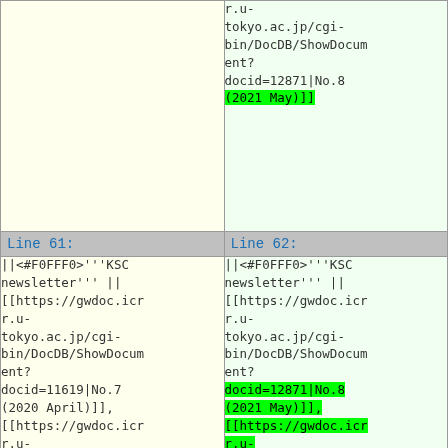| Line 61: | Line 62: |
| --- | --- |
|  | r.u-tokyo.ac.jp/cgi-bin/DocDB/ShowDocument?docid=12871|No.8 (2021 May)]] |
| ||<#F0FFF0>'''KSC newsletter''' || [[https://gwdoc.icr r.u-tokyo.ac.jp/cgi-bin/DocDB/ShowDocument?docid=11619|No.7 (2020 April)]], [[https://gwdoc.icr r.u-tokyo.ac.jp/cgi-bin/DocDB/ShowDocument?docid=11020|No.6 (2019 December)]], [[https://gwdoc.icr | ||<#F0FFF0>'''KSC newsletter''' || [[https://gwdoc.icr r.u-tokyo.ac.jp/cgi-bin/DocDB/ShowDocument?docid=12871|No.8 (2021 May)]], [[https://gwdoc.icr r.u-tokyo.ac.jp/cgi-bin/DocDB/ShowDocument?docid=11619|No.7 (2020 April)]], [[https://gwdoc.icr |